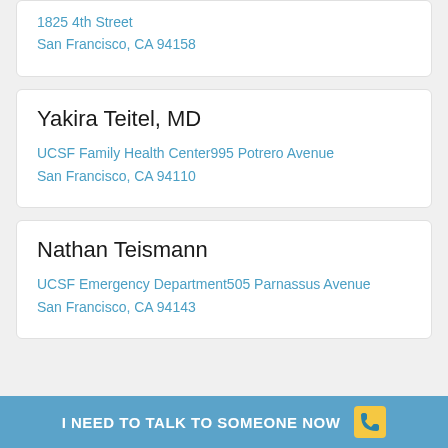Martha Tesidul
1825 4th Street
San Francisco, CA 94158
Yakira Teitel, MD
UCSF Family Health Center995 Potrero Avenue
San Francisco, CA 94110
Nathan Teismann
UCSF Emergency Department505 Parnassus Avenue
San Francisco, CA 94143
I NEED TO TALK TO SOMEONE NOW